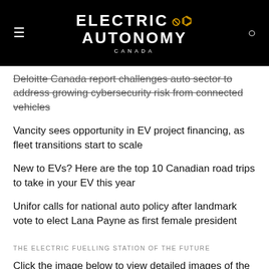ELECTRIC AUTONOMY CANADA
Deloitte Canada report challenges auto sector to address growing cybersecurity risk from connected vehicles
Vancity sees opportunity in EV project financing, as fleet transitions start to scale
New to EVs? Here are the top 10 Canadian road trips to take in your EV this year
Unifor calls for national auto policy after landmark vote to elect Lana Payne as first female president
THE ELECTRIC FUELLING STATION OF THE FUTURE
Click the image below to view detailed images of the winners of the design competition